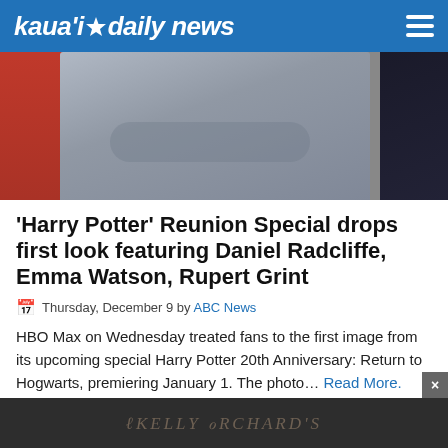kaua'i daily news
[Figure (photo): Photo showing people, a person in a grey hoodie with arms crossed in the center, another in red on the left, dark background on the right]
'Harry Potter' Reunion Special drops first look featuring Daniel Radcliffe, Emma Watson, Rupert Grint
Thursday, December 9 by ABC News
HBO Max on Wednesday treated fans to the first image from its upcoming special Harry Potter 20th Anniversary: Return to Hogwarts, premiering January 1. The photo… Read More.
1  2  Next >